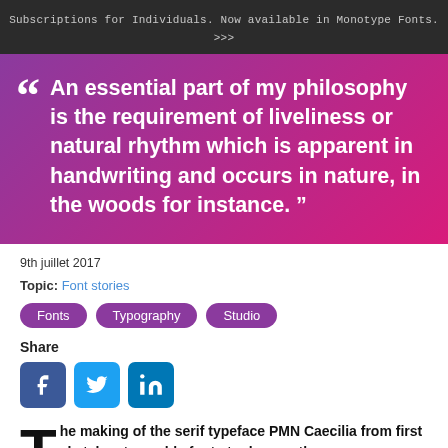Subscriptions for Individuals. Now available in Monotype Fonts. >>>
“ An essential part of my philosophy is the requirement of liveliness or natural rhythm which is apparent in handwriting and occurs in nature, in the woods for instance.”
9th juillet 2017
Topic: Font stories
Fonts
Typography
Studio
Share
[Figure (infographic): Social share icons: Facebook, Twitter, LinkedIn]
The making of the serif typeface PMN Caecilia from first sketches to usable fonts took more than seven years. Designed by Peter Matthias Noordzij, it is the child of a